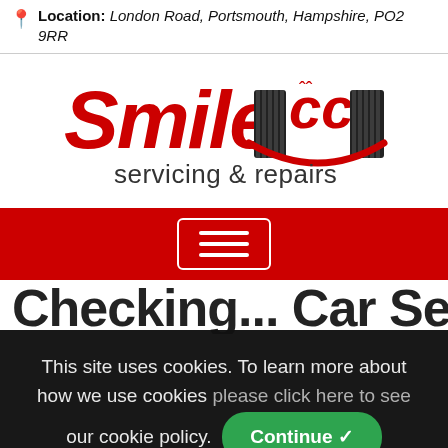Location: London Road, Portsmouth, Hampshire, PO2 9RR
[Figure (logo): Smile CC servicing & repairs logo — 'Smile' in red italic with tyre-tread graphic and CC emblem, 'servicing & repairs' in dark grey below]
[Figure (other): Red navigation bar with white hamburger menu button (three horizontal lines in a rounded rectangle)]
Checking... Car Search (partial, cut off)
This site uses cookies. To learn more about how we use cookies please click here to see our cookie policy. Continue ✓